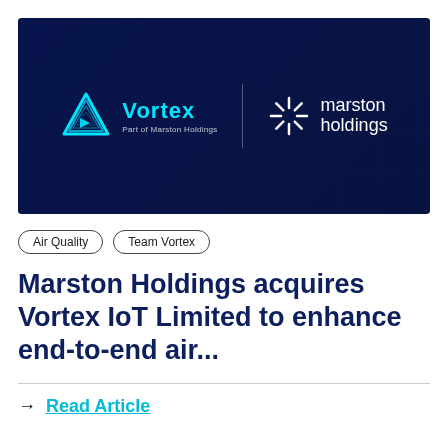[Figure (logo): Hero image with dark navy blue background showing a city street scene overlaid with Vortex logo (cyan triangle icon, Vortex text, 'Part of Marston Holdings' subtitle) on the left and Marston Holdings logo (white starburst icon with 'marston holdings' text) on the right]
Air Quality
Team Vortex
Marston Holdings acquires Vortex IoT Limited to enhance end-to-end air...
→ Read Article